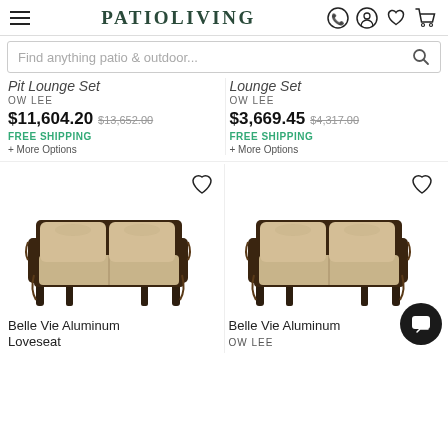PATIOLIVING
Find anything patio & outdoor...
Pit Lounge Set
OW LEE
$11,604.20  $13,652.00
FREE SHIPPING
+ More Options
Lounge Set
OW LEE
$3,669.45  $4,317.00
FREE SHIPPING
+ More Options
[Figure (photo): Belle Vie Aluminum Loveseat with dark metal frame and tan cushions]
[Figure (photo): Belle Vie Aluminum sofa/loveseat with dark metal frame and tan cushions]
Belle Vie Aluminum Loveseat
Belle Vie Aluminum
OW LEE